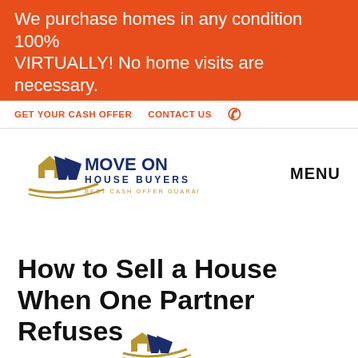We purchase homes in any condition 100% VIRTUALLY! No home visits are necessary.
GET YOUR CASH OFFER   CONTACT US
[Figure (logo): Move On House Buyers logo — blue and gold house/arrow icon with text MOVE ON HOUSE BUYERS and tagline BEST CASH OFFER GUARANTEE]
MENU
How to Sell a House When One Partner Refuses
January 13, 2022
By ML